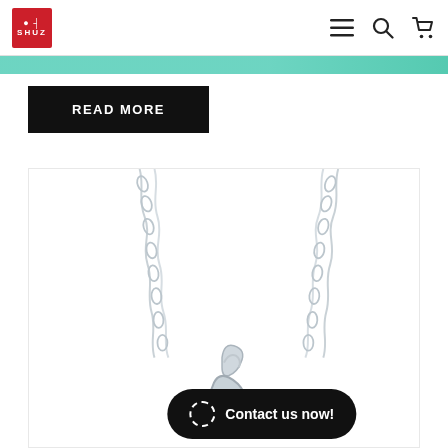SHUZ logo with hamburger menu, search, and cart icons
[Figure (photo): Teal/green decorative banner strip partially visible at top]
READ MORE
[Figure (photo): Close-up product photo of a silver chain necklace with a pink/purple gemstone heart pendant, on white background]
Contact us now!